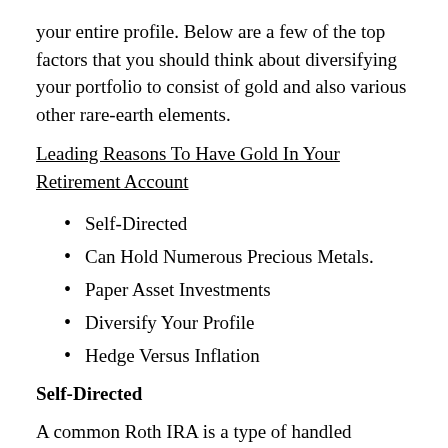your entire profile. Below are a few of the top factors that you should think about diversifying your portfolio to consist of gold and also various other rare-earth elements.
Leading Reasons To Have Gold In Your Retirement Account
Self-Directed
Can Hold Numerous Precious Metals.
Paper Asset Investments
Diversify Your Profile
Hedge Versus Inflation
Self-Directed
A common Roth IRA is a type of handled financial investment where you can select the allowance percentages of your profile however does not have control over the precise details of the financial